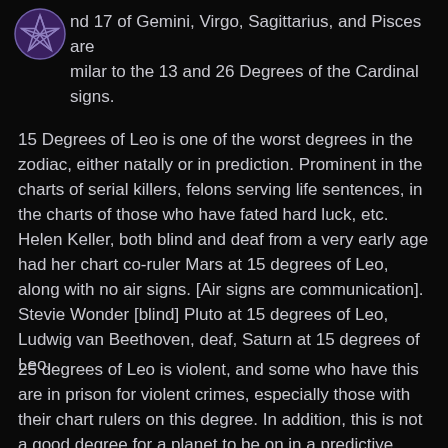[Figure (logo): Purple pentagram/pentacle star symbol in a circle, top-left corner]
nd 17 of Gemini, Virgo, Sagittarius, and Pisces are milar to the 13 and 26 Degrees of the Cardinal signs.
15 Degrees of Leo is one of the worst degrees in the zodiac, either natally or in prediction. Prominent in the charts of serial killers, felons serving life sentences, in the charts of those who have fated hard luck, etc. Helen Keller, both blind and deaf from a very early age had her chart co-ruler Mars at 15 degrees of Leo, along with no air signs. [Air signs are communication]. Stevie Wonder [blind] Pluto at 15 degrees of Leo, Ludwig van Beethoven, deaf, Saturn at 15 degrees of Leo.
25 degrees of Leo is violent, and some who have this are in prison for violent crimes, especially those with their chart rulers on this degree. In addition, this is not a good degree for a planet to be on in a predictive chart.